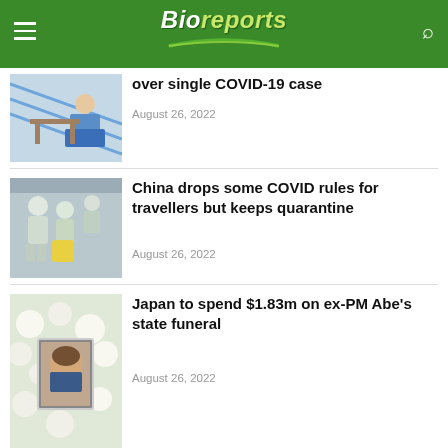Bioreports
over single COVID-19 case
August 26, 2022
[Figure (photo): Person being tested at a COVID-19 testing station]
[Figure (photo): People in hazmat suits at an airport or public space]
China drops some COVID rules for travellers but keeps quarantine
August 26, 2022
[Figure (photo): Framed photo of Shinzo Abe among white flowers]
Japan to spend $1.83m on ex-PM Abe's state funeral
August 26, 2022